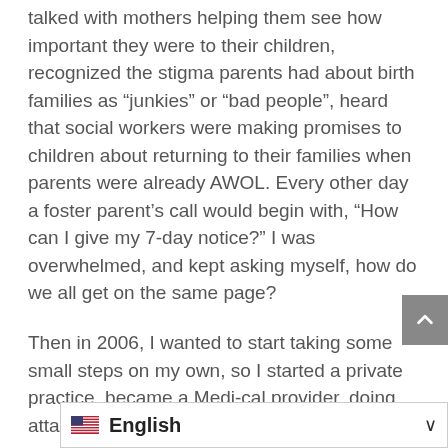talked with mothers helping them see how important they were to their children, recognized the stigma parents had about birth families as “junkies” or “bad people”, heard that social workers were making promises to children about returning to their families when parents were already AWOL. Every other day a foster parent’s call would begin with, “How can I give my 7-day notice?” I was overwhelmed, and kept asking myself, how do we all get on the same page?
Then in 2006, I wanted to start taking some small steps on my own, so I started a private practice, became a Medi-cal provider, doing attachment therapy with children and families connected by foster care and adoption. I answered parents questions over and over, about attachment, trust, grief reactions….” foster kids are grieving the loss of their previous situation…ever